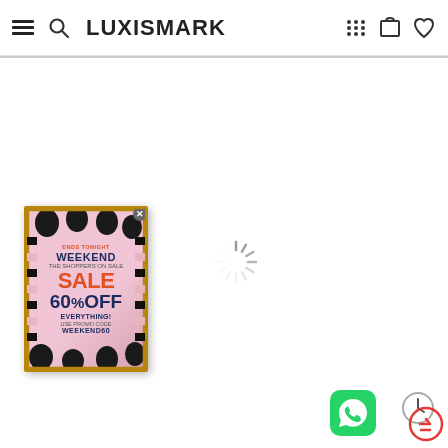LUXISMARK
[Figure (screenshot): Weekend Sale advertisement popup: ENDS TONIGHT, WEEKEND SALE 60% OFF EVERYTHING! USE PROMO CODE WEEKEND60, with black balloon decorations and gold frame on pink background, with close button (x)]
[Figure (other): Loading spinner (circular radial lines animation indicator)]
[Figure (other): WhatsApp green icon button at bottom right]
[Figure (other): Clock/history icon at bottom right corner]
[Figure (other): Red circle with arrow icon at bottom right corner]